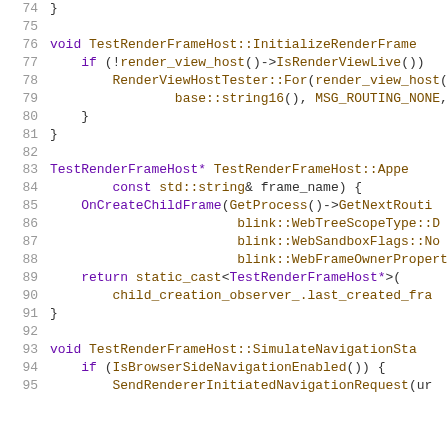[Figure (screenshot): Source code listing lines 74-95 in C++, showing TestRenderFrameHost class methods including InitializeRenderFrame, AppendChild, and SimulateNavigationStart functions.]